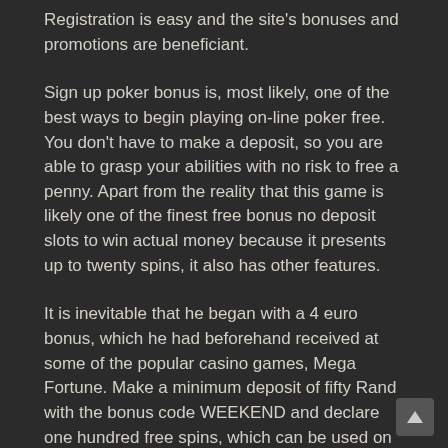Registration is easy and the site's bonuses and promotions are beneficiant.
Sign up poker bonus is, most likely, one of the best ways to begin playing on-line poker free. You don't have to make a deposit, so you are able to grasp your abilities with no risk to free a penny. Apart from the reality that this game is likely one of the finest free bonus no deposit slots to win actual money because it presents up to twenty spins, it also has other features.
It is inevitable that he began with a 4 euro bonus, which he had beforehand received at some of the popular casino games, Mega Fortune. Make a minimum deposit of fifty Rand with the bonus code WEEKEND and declare one hundred free spins, which can be used on the preferred slots such as Fruit Zen, Boomanji, and 88 Dragons. You will discover on-line blackjack enjoyable and easy, make certain to examine out our sections that embrace featured video games.
All this information can also be obtainable in our model evaluate, along with players' scores and exclusive promotions and no deposit bonuses. Hence, how to win jackpot on on line casino nevertheless it does not essentially imply that you will be able to